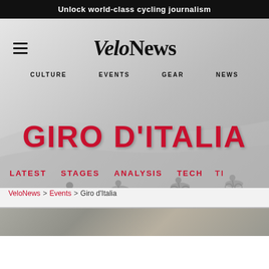Unlock world-class cycling journalism
[Figure (screenshot): VeloNews website header with cycling background photo showing cyclists in a race, grayscale/washed out]
VeloNews
CULTURE  EVENTS  GEAR  NEWS
GIRO D'ITALIA
LATEST  STAGES  ANALYSIS  TECH  TI
VeloNews > Events > Giro d'Italia